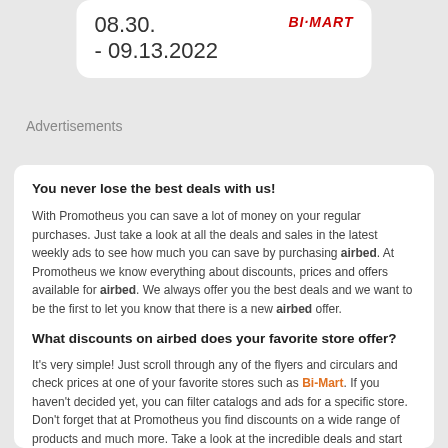08.30. - 09.13.2022  BI-MART
Advertisements
You never lose the best deals with us!
With Promotheus you can save a lot of money on your regular purchases. Just take a look at all the deals and sales in the latest weekly ads to see how much you can save by purchasing airbed. At Promotheus we know everything about discounts, prices and offers available for airbed. We always offer you the best deals and we want to be the first to let you know that there is a new airbed offer.
What discounts on airbed does your favorite store offer?
It's very simple! Just scroll through any of the flyers and circulars and check prices at one of your favorite stores such as Bi-Mart. If you haven't decided yet, you can filter catalogs and ads for a specific store. Don't forget that at Promotheus you find discounts on a wide range of products and much more. Take a look at the incredible deals and start saving now on your shopping. We offer